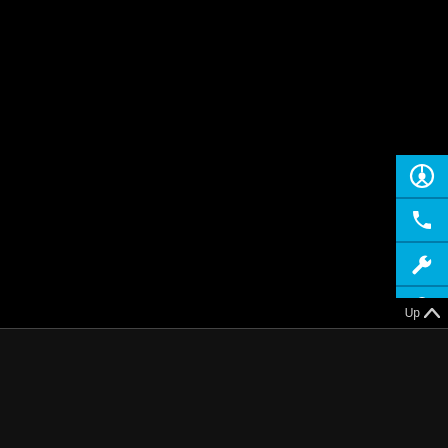[Figure (screenshot): Black main content area of a website for Blue Star Mercedes-Benz dealer. Right side has a vertical stack of four cyan/blue icon buttons: steering wheel (test drive), phone (contact), wrench (service), and a hand with coin (finance). A grey 'Up ^' navigation button appears below the icon stack.]
Contacts   Cookies   Data protection   Legal information
© 2019 Blue Star – the official dealer of Mercedes-Benz